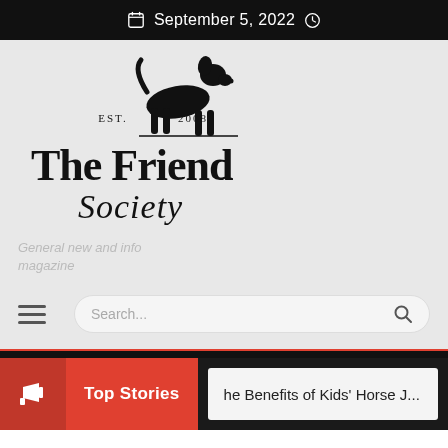September 5, 2022
[Figure (logo): The Friend Society logo — a black dog silhouette with EST. 2008, bold 'The Friend' text and cursive 'Society' text]
General new and info magazine
Search...
Top Stories
he Benefits of Kids' Horse J...